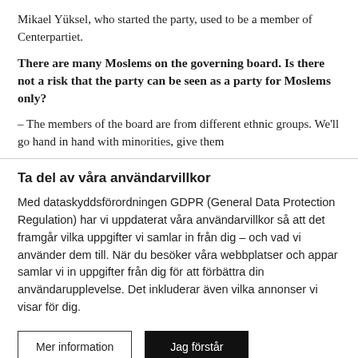Mikael Yüksel, who started the party, used to be a member of Centerpartiet.
There are many Moslems on the governing board. Is there not a risk that the party can be seen as a party for Moslems only?
– The members of the board are from different ethnic groups. We'll go hand in hand with minorities, give them
Ta del av våra användarvillkor
Med dataskyddsförordningen GDPR (General Data Protection Regulation) har vi uppdaterat våra användarvillkor så att det framgår vilka uppgifter vi samlar in från dig – och vad vi använder dem till. När du besöker våra webbplatser och appar samlar vi in uppgifter från dig för att förbättra din användarupplevelse. Det inkluderar även vilka annonser vi visar för dig.
Mer information
Jag förstår